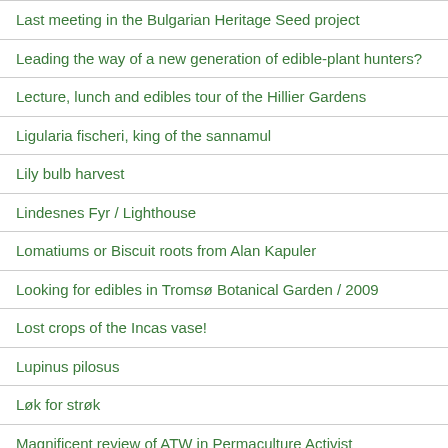Last meeting in the Bulgarian Heritage Seed project
Leading the way of a new generation of edible-plant hunters?
Lecture, lunch and edibles tour of the Hillier Gardens
Ligularia fischeri, king of the sannamul
Lily bulb harvest
Lindesnes Fyr / Lighthouse
Lomatiums or Biscuit roots from Alan Kapuler
Looking for edibles in Tromsø Botanical Garden / 2009
Lost crops of the Incas vase!
Lupinus pilosus
Løk for strøk
Magnificent review of ATW in Permaculture Activist